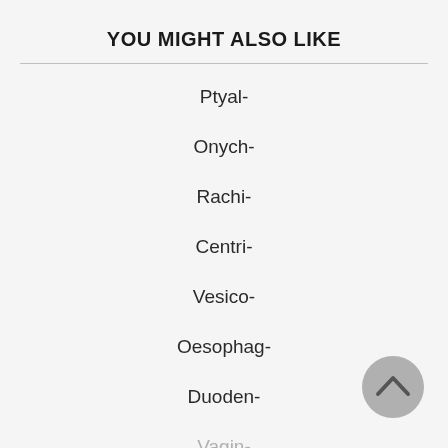YOU MIGHT ALSO LIKE
Ptyal-
Onych-
Rachi-
Centri-
Vesico-
Oesophag-
Duoden-
Vagin-